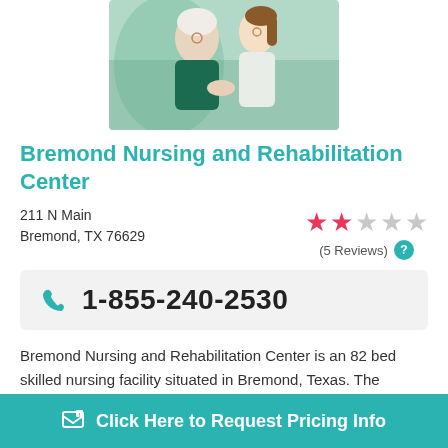[Figure (photo): Elderly woman and young caregiver smiling together, caregiver holding elder's hands]
Bremond Nursing and Rehabilitation Center
211 N Main
Bremond, TX 76629
★★☆☆☆ (5 Reviews)
1-855-240-2530
Bremond Nursing and Rehabilitation Center is an 82 bed skilled nursing facility situated in Bremond, Texas. The surrounding area has a sparse population, with approximately 3,000 poeple living in the 76629 zip code. W...
Click Here to Request Pricing Info